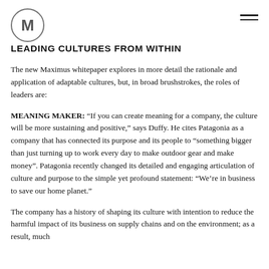[Figure (logo): Circle logo with letter M inside]
LEADING CULTURES FROM WITHIN
The new Maximus whitepaper explores in more detail the rationale and application of adaptable cultures, but, in broad brushstrokes, the roles of leaders are:
MEANING MAKER: “If you can create meaning for a company, the culture will be more sustaining and positive,” says Duffy. He cites Patagonia as a company that has connected its purpose and its people to “something bigger than just turning up to work every day to make outdoor gear and make money”. Patagonia recently changed its detailed and engaging articulation of culture and purpose to the simple yet profound statement: “We’re in business to save our home planet.”
The company has a history of shaping its culture with intention to reduce the harmful impact of its business on supply chains and on the environment; as a result, much